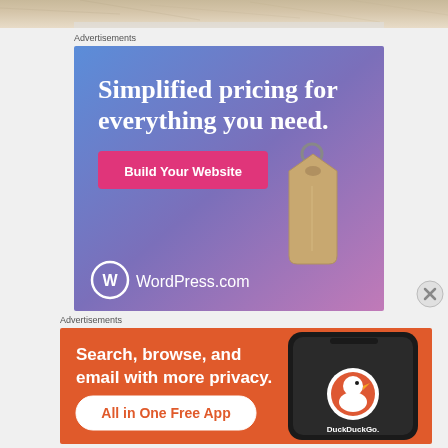[Figure (photo): Crumpled paper texture at top of page]
Advertisements
[Figure (illustration): WordPress.com advertisement: 'Simplified pricing for everything you need.' with a 'Build Your Website' button and a price tag graphic on a blue-purple gradient background]
Advertisements
[Figure (screenshot): DuckDuckGo advertisement: 'Search, browse, and email with more privacy. All in One Free App' with a phone graphic showing the DuckDuckGo app on an orange background]